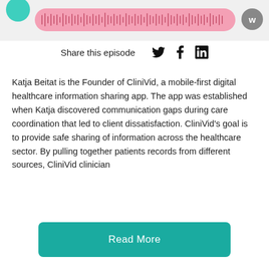[Figure (screenshot): Podcast player UI with teal avatar circle, pink waveform progress bar, and gray W icon button]
Share this episode
[Figure (infographic): Social media icons: Twitter bird, Facebook f, LinkedIn in]
Katja Beitat is the Founder of CliniVid, a mobile-first digital healthcare information sharing app.  The app was established when Katja discovered communication gaps during care coordination that led to client dissatisfaction. CliniVid's goal is to provide safe sharing of information across the healthcare sector. By pulling together patients records from different sources, CliniVid clinician
Read More